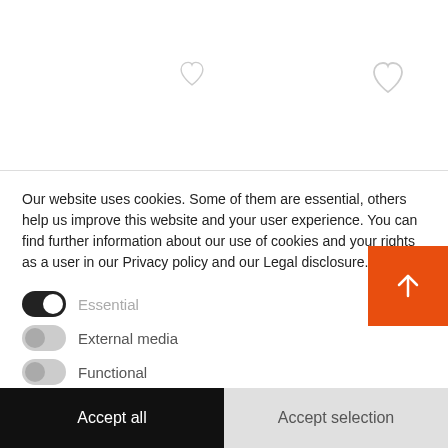[Figure (illustration): Two heart (favorite) icons in outline style on white background, separated by horizontal divider line]
Our website uses cookies. Some of them are essential, others help us improve this website and your user experience. You can find further information about our use of cookies and your rights as a user in our Privacy policy and our Legal disclosure.
Essential (toggle on)
External media (toggle off)
Functional (toggle off)
PayPal (toggle on)
Further settings
Accept all
Accept selection